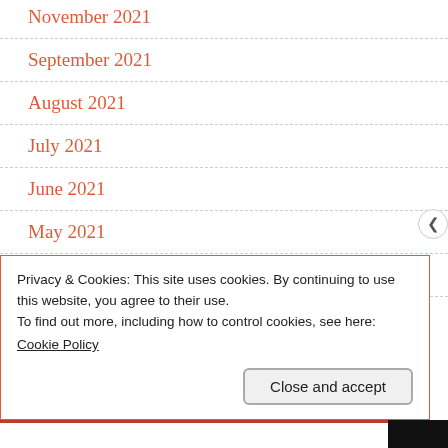November 2021
September 2021
August 2021
July 2021
June 2021
May 2021
April 2021
Privacy & Cookies: This site uses cookies. By continuing to use this website, you agree to their use.
To find out more, including how to control cookies, see here:
Cookie Policy
Close and accept